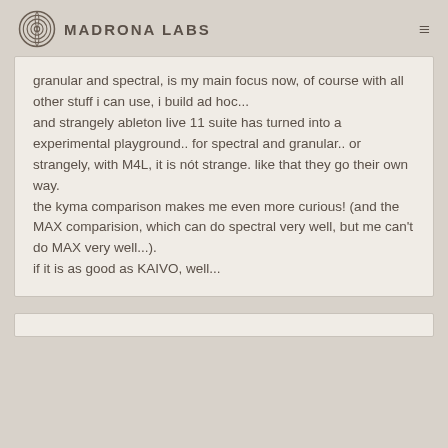Madrona Labs
granular and spectral, is my main focus now, of course with all other stuff i can use, i build ad hoc...
and strangely ableton live 11 suite has turned into a experimental playground.. for spectral and granular.. or strangely, with M4L, it is nót strange. like that they go their own way.
the kyma comparison makes me even more curious! (and the MAX comparision, which can do spectral very well, but me can't do MAX very well...).
if it is as good as KAIVO, well...